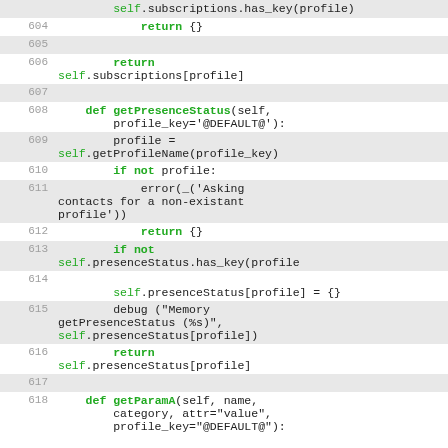[Figure (screenshot): Python source code listing, lines 604-618, showing methods getPresenceStatus and getParamA in monospace font with green keywords, on alternating shaded/white row background.]